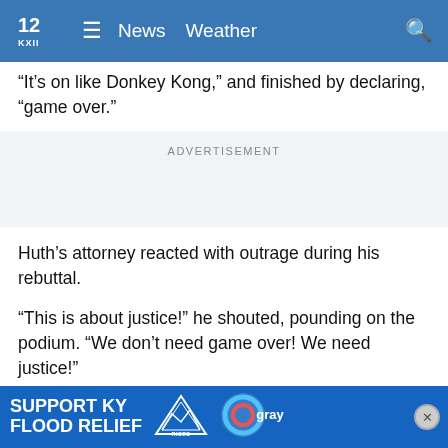KXII News Weather
“It’s on like Donkey Kong,” and finished by declaring, “game over.”
ADVERTISEMENT
Huth’s attorney reacted with outrage during his rebuttal.
“This is about justice!” he shouted, pounding on the podium. “We don’t need game over! We need justice!”
The Associated Press does not normally name people who say they have been sexually abused, unless they come forward
[Figure (infographic): Support KY Flood Relief banner with Appalachia Rises logo and Gray Television logo]